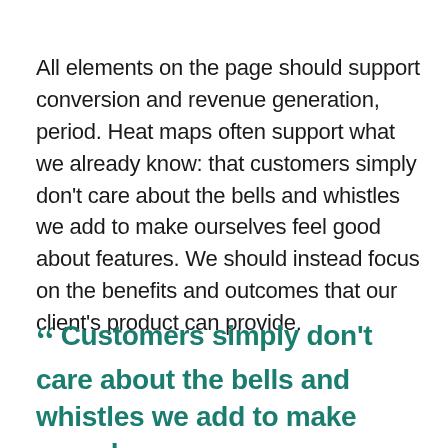All elements on the page should support conversion and revenue generation, period. Heat maps often support what we already know: that customers simply don't care about the bells and whistles we add to make ourselves feel good about features. We should instead focus on the benefits and outcomes that our client's product can provide.
" Customers simply don't care about the bells and whistles we add to make ourselves